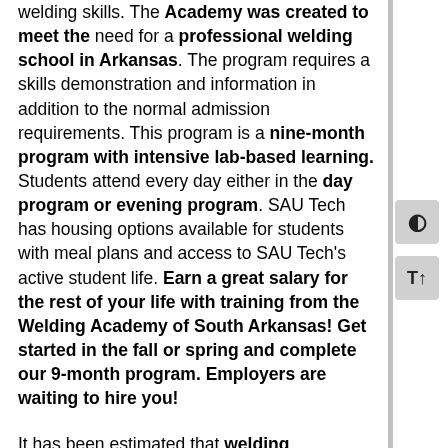welding skills. The Academy was created to meet the need for a professional welding school in Arkansas. The program requires a skills demonstration and information in addition to the normal admission requirements. This program is a nine-month program with intensive lab-based learning. Students attend every day either in the day program or evening program. SAU Tech has housing options available for students with meal plans and access to SAU Tech's active student life. Earn a great salary for the rest of your life with training from the Welding Academy of South Arkansas! Get started in the fall or spring and complete our 9-month program. Employers are waiting to hire you!
It has been estimated that welding engineering impacts more than 50 percent of the products manufactured in the United States. Almost every segment of our economy depends, to some degree,